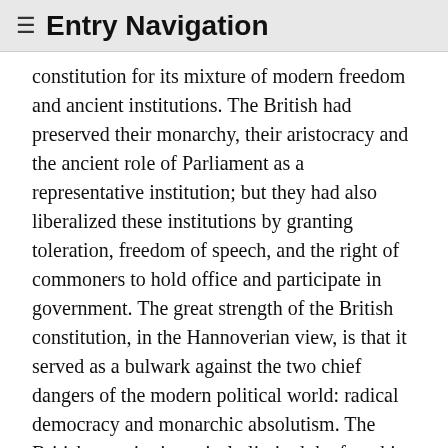≡ Entry Navigation
constitution for its mixture of modern freedom and ancient institutions. The British had preserved their monarchy, their aristocracy and the ancient role of Parliament as a representative institution; but they had also liberalized these institutions by granting toleration, freedom of speech, and the right of commoners to hold office and participate in government. The great strength of the British constitution, in the Hannoverian view, is that it served as a bulwark against the two chief dangers of the modern political world: radical democracy and monarchic absolutism. The British constitution wisely limited the franchise to the aristocracy and wealthy bourgeoisie, which saved their system from ochlocracy; but it also ensured that the king had to govern with the co-operation of parliament. Contrary to Montesquieu and De Lolme, however, the Hannoverians did not see the balance of power, the system of checks and balances, as the reason for the success of the British system; they found it instead in the British party system, which they admired for two grounds: it organized politicans into effective groups in